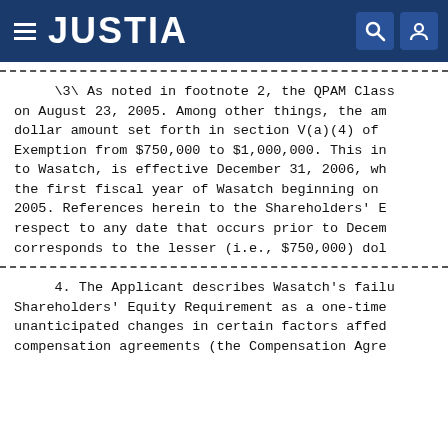JUSTIA
\3\ As noted in footnote 2, the QPAM Class on August 23, 2005. Among other things, the am dollar amount set forth in section V(a)(4) of Exemption from $750,000 to $1,000,000. This in to Wasatch, is effective December 31, 2006, wh the first fiscal year of Wasatch beginning on 2005. References herein to the Shareholders' E respect to any date that occurs prior to Decem corresponds to the lesser (i.e., $750,000) dol
4. The Applicant describes Wasatch's failu Shareholders' Equity Requirement as a one-time unanticipated changes in certain factors affed compensation agreements (the Compensation Agre